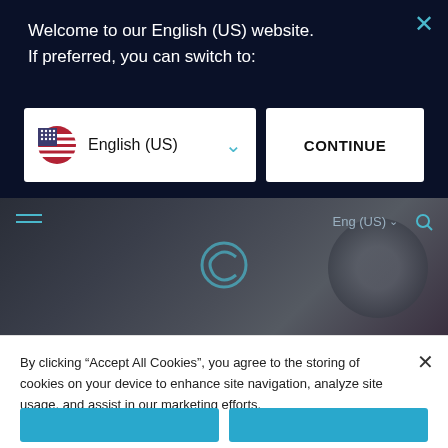Welcome to our English (US) website.
If preferred, you can switch to:
[Figure (screenshot): Language selector dropdown showing US flag and 'English (US)' with a chevron, plus a CONTINUE button]
[Figure (screenshot): Navigation bar with hamburger menu, Clearfield C logo, Eng (US) language selector, and search icon, overlaid on dark hero image of industrial equipment]
By clicking “Accept All Cookies”, you agree to the storing of cookies on your device to enhance site navigation, analyze site usage, and assist in our marketing efforts.